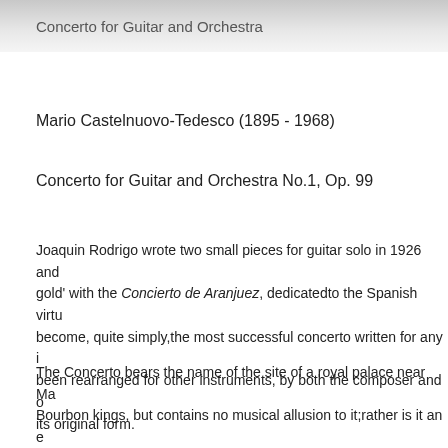Concerto for Guitar and Orchestra
Mario Castelnuovo-Tedesco (1895 - 1968)
Concerto for Guitar and Orchestra No.1, Op. 99
Joaquin Rodrigo wrote two small pieces for guitar solo in 1926 and gold' with the Concierto de Aranjuez, dedicatedto the Spanish virtu become, quite simply,the most successful concerto written for any i been rearranged for other instruments, by both the composer and o its original form.
The Concerto bears the name of the site of a royal palace near Ma Bourbon kings, but contains no musical allusion to it;rather is it an e Spain's heritage-folk-and art-musical, and social. The first, sonata-f the material with which the guitar opens it, mainly in strummedchor which serves as an accompaniment tothe melody introduced by the 6/8 times(the hemiola) has been typical of Spanish music since the this movement.